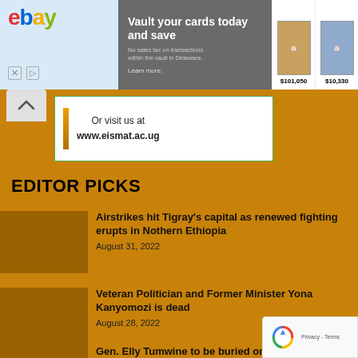[Figure (screenshot): eBay advertisement banner: 'Vault your cards today and save. No sales tax on transactions within the vault in Delaware. Learn more.' with two trading card images priced at $101,050 and $10,330]
Or visit us at www.eismat.ac.ug
EDITOR PICKS
Airstrikes hit Tigray's capital as renewed fighting erupts in Nothern Ethiopia
August 31, 2022
Veteran Politician and Former Minister Yona Kanyomozi is dead
August 28, 2022
Gen. Elly Tumwine to be buried on Tuesday -